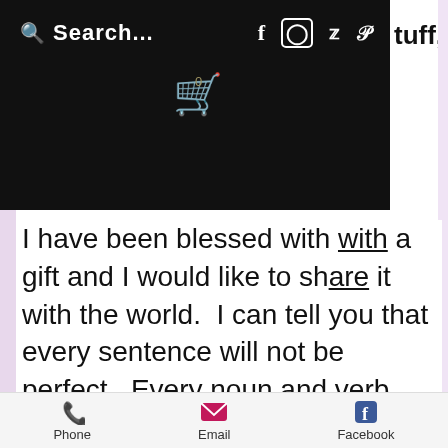[Figure (screenshot): Website navigation bar with search field, social media icons (Facebook, Instagram, Twitter, Pinterest), and a shopping cart icon, all on a black background.]
tuff,
I have been blessed with a gift and I would like to share it with the world.  I can tell you that every sentence will not be perfect.  Every noun and verb may not agree and every period or comma may not be in the right place.  What I promise to you as my readers though, is that every word will come from my heart.  Every post will be the truth as I see it.  I hope that we
Phone  Email  Facebook